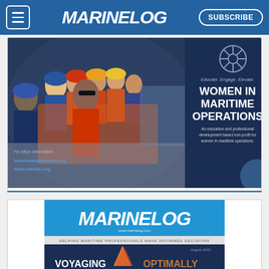MARINELOG | SUBSCRIBE
[Figure (illustration): Women in Maritime Operations (WIMOS) advertisement with group photo of women in safety vests and hard hats. Text: Educate. Engage. Elevate. WOMEN IN MARITIME OPERATIONS. An education and professional development based non-profit for women in maritime operations. For More Information wimosusa@wimos.org www.wimos.org]
[Figure (illustration): Marine Log magazine cover advertisement showing MARINELOG logo and text VOYAGING OPTIMALLY]